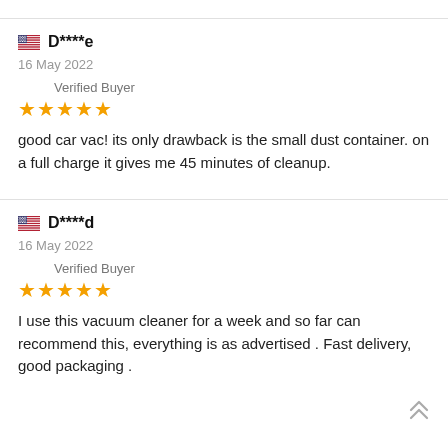D****e — 16 May 2022 — Verified Buyer — ★★★★★
good car vac! its only drawback is the small dust container. on a full charge it gives me 45 minutes of cleanup.
D****d — 16 May 2022 — Verified Buyer — ★★★★★
I use this vacuum cleaner for a week and so far can recommend this, everything is as advertised . Fast delivery, good packaging .